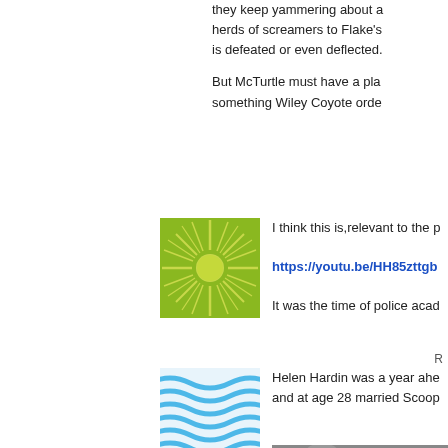they keep yammering about a herds of screamers to Flake's is defeated or even deflected.
But McTurtle must have a pla something Wiley Coyote orde
[Figure (illustration): Green sun/starburst avatar icon on yellow-green background]
I think this is,relevant to the p
https://youtu.be/HH85zttgb
It was the time of police acad
R
[Figure (illustration): Light blue wavy lines avatar icon]
Helen Hardin was a year ahe and at age 28 married Scoop
[Figure (photo): Black and white photo of a man and woman at a social event]